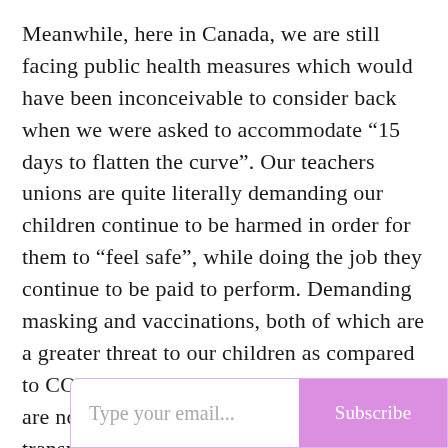Meanwhile, here in Canada, we are still facing public health measures which would have been inconceivable to consider back when we were asked to accommodate “15 days to flatten the curve”. Our teachers unions are quite literally demanding our children continue to be harmed in order for them to “feel safe”, while doing the job they continue to be paid to perform. Demanding masking and vaccinations, both of which are a greater threat to our children as compared to COVID, amongst a demographic which are not susceptible to COVID and do not transmit COVID, to perform a job where they are factually at no different risk versus any other profession, while having vaccines and masks available to them if they so choose.
Type your email...
Subscribe